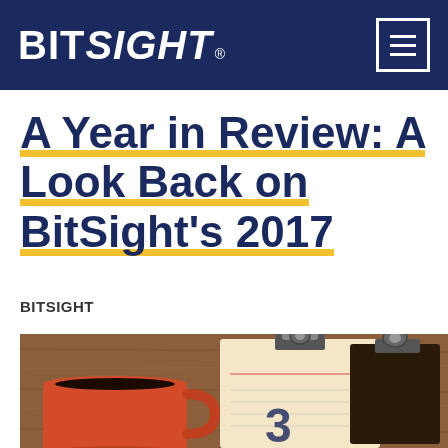BITSIGHT
A Year in Review: A Look Back on BitSight's 2017
BITSIGHT
[Figure (photo): Photo of a red coffee mug filled with black coffee on a wooden table, next to a clipboard with lined paper showing a partial date, suggesting a year-in-review theme.]